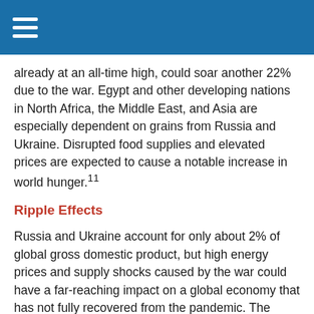already at an all-time high, could soar another 22% due to the war. Egypt and other developing nations in North Africa, the Middle East, and Asia are especially dependent on grains from Russia and Ukraine. Disrupted food supplies and elevated prices are expected to cause a notable increase in world hunger.¹¹
Ripple Effects
Russia and Ukraine account for only about 2% of global gross domestic product, but high energy prices and supply shocks caused by the war could have a far-reaching impact on a global economy that has not fully recovered from the pandemic. The Organization for Economic Cooperation and Development (OECD) estimates that global economic growth in the first year after the war